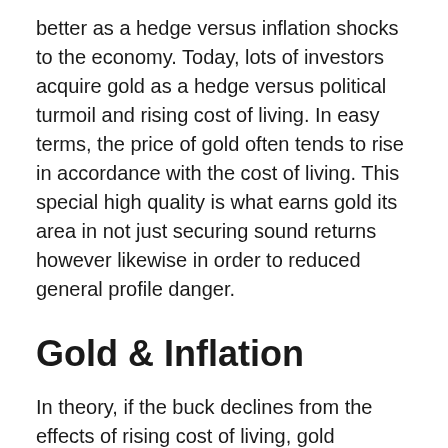better as a hedge versus inflation shocks to the economy. Today, lots of investors acquire gold as a hedge versus political turmoil and rising cost of living. In easy terms, the price of gold often tends to rise in accordance with the cost of living. This special high quality is what earns gold its area in not just securing sound returns however likewise in order to reduced general profile danger.
Gold & Inflation
In theory, if the buck declines from the effects of rising cost of living, gold becomes a lot more expensive. The proprietor of gold, for that reason, is ‘hedged’ versus the falling dollar. As inflation surges and erodes the worth of the system of currency, the cost of